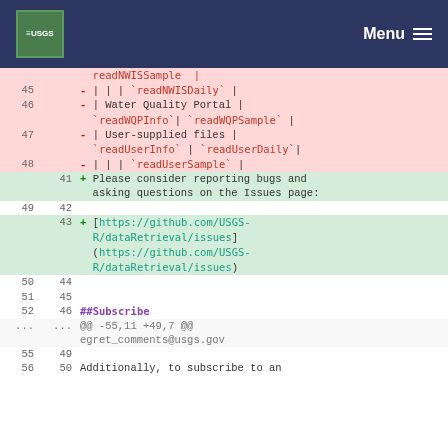USGS Menu
| old | new | diff | code |
| --- | --- | --- | --- |
| 45 |  | − | | | | `readNWISDaily` | |
| 46 |  | − | | Water Quality Portal | `readWQPInfo` | `readWQPSample` | |
| 47 |  | − | | User-supplied files | `readUserInfo` | `readUserDaily`| |
| 48 |  | − | | | | `readUserSample` | |
|  | 41 | + | Please consider reporting bugs and asking questions on the Issues page: |
| 49 | 42 |  |  |
|  | 43 | + | [https://github.com/USGS-R/dataRetrieval/issues](https://github.com/USGS-R/dataRetrieval/issues) |
| 50 | 44 |  |  |
| 51 | 45 |  |  |
| 52 | 46 |  | ##Subscribe |
| ... | ... |  | @@ -55,11 +49,7 @@ |
|  |  |  | egret_comments@usgs.gov |
| 55 | 49 |  |  |
| 56 | 50 |  | Additionally, to subscribe to an |